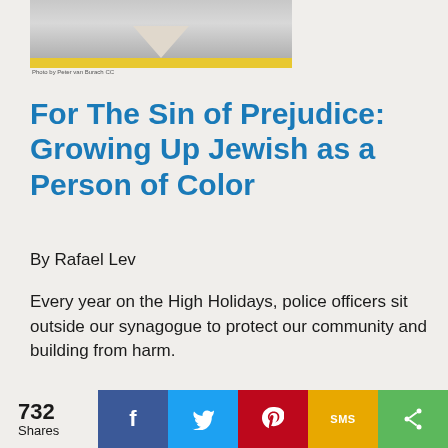[Figure (photo): Top portion of an article image showing what appears to be a wooden siding or wall with a triangular shape, with a yellow bar at the bottom and a small photo credit]
For The Sin of Prejudice: Growing Up Jewish as a Person of Color
By Rafael Lev
Every year on the High Holidays, police officers sit outside our synagogue to protect our community and building from harm.
[Figure (photo): Bottom portion showing a light/neutral colored abstract or sky image]
732 Shares